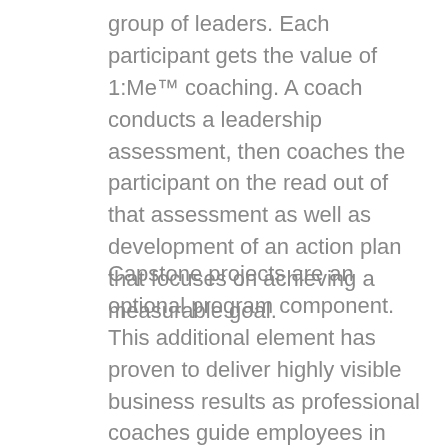group of leaders. Each participant gets the value of 1:Me™ coaching. A coach conducts a leadership assessment, then coaches the participant on the read out of that assessment as well as development of an action plan that focuses on achieving a measurable goal.
Capstone projects are an optional program component. This additional element has proven to deliver highly visible business results as professional coaches guide employees in developing and executing an initiative with measurable outcomes.